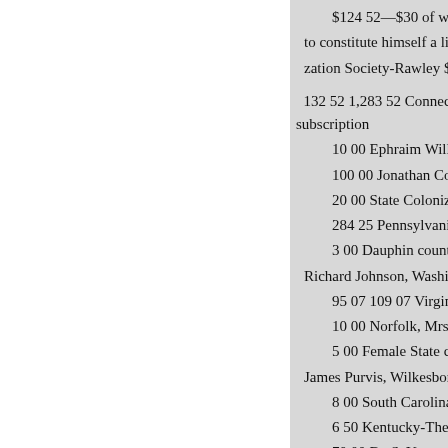$124 52—$30 of which was to constitute himself a life m zation Society-Rawley $2; D
132 52 1,283 52 Connecticut- subscription
10 00 Ephraim Williams, Adm
100 00 Jonathan Coit, Esq., N
20 00 State Colonization Socie
284 25 Pennsylvania-Abingdo
3 00 Dauphin county-Derry co Richard Johnson, Washington co
95 07 109 07 Virginia—Donati
10 00 Norfolk, Mrs. Gilliatt, th
5 00 Female State colonization James Purvis, Wilkesboro
8 00 South Carolina-Rev. Sam
6 50 Kentucky-The Kentucky
70 00 By S. Young, Executor o